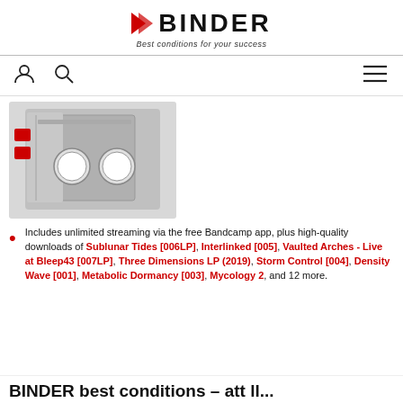BINDER – Best conditions for your success
[Figure (photo): BINDER laboratory chamber/isolator with open door showing glove ports, stainless steel construction with red controls on the left side]
Includes unlimited streaming via the free Bandcamp app, plus high-quality downloads of Sublunar Tides [006LP], Interlinked [005], Vaulted Arches - Live at Bleep43 [007LP], Three Dimensions LP (2019), Storm Control [004], Density Wave [001], Metabolic Dormancy [003], Mycology 2, and 12 more.
BINDER – best conditions – att ll...